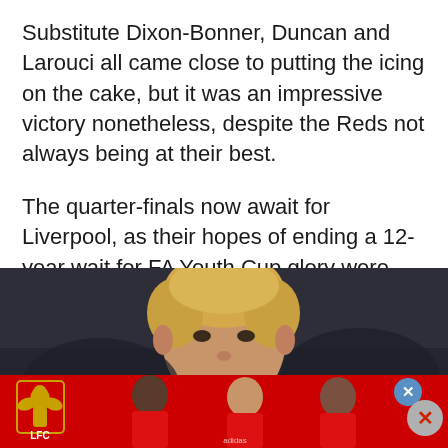Substitute Dixon-Bonner, Duncan and Larouci all came close to putting the icing on the cake, but it was an impressive victory nonetheless, despite the Reds not always being at their best.
The quarter-finals now await for Liverpool, as their hopes of ending a 12-year wait for FA Youth Cup glory were enhanced in Chester.
[Figure (photo): A young blond-haired Liverpool football player photographed in dark stadium lighting, wearing what appears to be a dark kit. The image is cropped to show the player from roughly the chest up.]
[Figure (photo): Liverpool FC advertisement banner in red showing the LFC crest/logo on the left and three Liverpool players in red kit celebrating, with an X close button on the right side.]